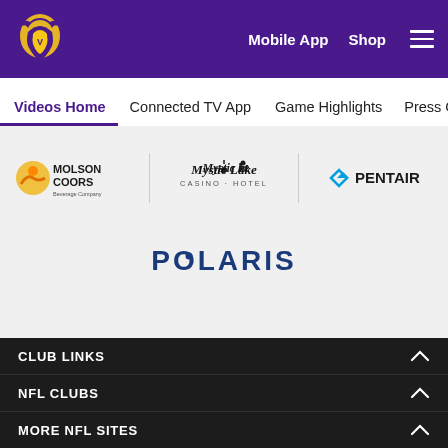[Figure (logo): Minnesota Vikings logo - top left header]
Mobile App  Shop  ≡
Videos Home
Connected TV App
Game Highlights
Press Confe...
[Figure (logo): Molson Coors logo]
[Figure (logo): Mystic Lake Casino Hotel logo]
[Figure (logo): Pentair logo]
[Figure (logo): Polaris logo]
CLUB LINKS
NFL CLUBS
MORE NFL SITES
Official Vikings Mobile App
[Figure (screenshot): Download on the App Store button]
[Figure (screenshot): Get it on Google Play button]